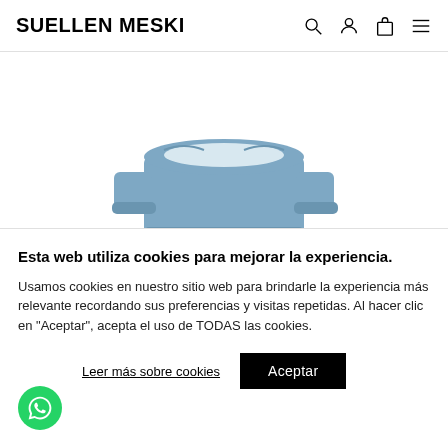SUELLEN MESKI
[Figure (photo): Blue off-shoulder hoodie sweatshirt product photo on white background]
Ripndip Capitan Fuck Off Embroidered Hoodie Slate
AGOTADO
Esta web utiliza cookies para mejorar la experiencia.
Usamos cookies en nuestro sitio web para brindarle la experiencia más relevante recordando sus preferencias y visitas repetidas. Al hacer clic en "Aceptar", acepta el uso de TODAS las cookies.
Leer más sobre cookies
Aceptar